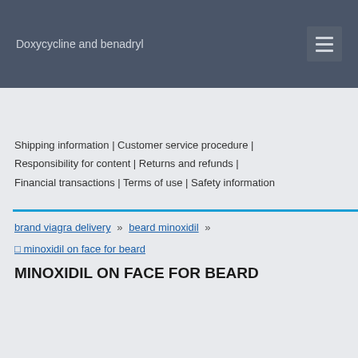Doxycycline and benadryl
Shipping information | Customer service procedure | Responsibility for content | Returns and refunds | Financial transactions | Terms of use | Safety information
brand viagra delivery » beard minoxidil »
⬜ minoxidil on face for beard
MINOXIDIL ON FACE FOR BEARD